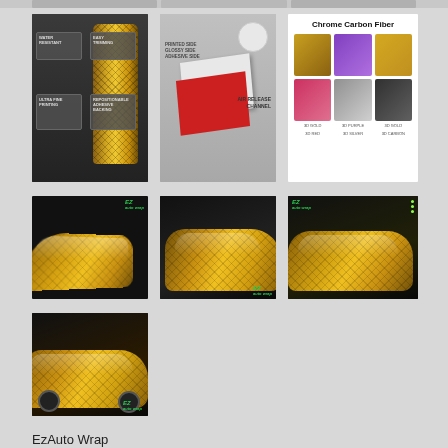[Figure (photo): Three partially visible product/car images at top of page (cropped)]
[Figure (photo): Gold chrome 3D carbon fiber vinyl roll with feature callout boxes on dark background]
[Figure (schematic): Diagram showing air release channel layers with red and white panels]
[Figure (illustration): Chrome Carbon Fiber color swatch chart showing 6 color variants: 3D Gold, 3D Purple, 3D Gold variant, 3D Red, 3D Silver, 3D Black]
[Figure (photo): Gold chrome Lamborghini close-up detail with EzAuto Wrap logo]
[Figure (photo): Gold chrome Lamborghini full side view with EzAuto Wrap logo]
[Figure (photo): Gold chrome Lamborghini front three-quarter view with EzAuto Wrap logo]
[Figure (photo): Gold chrome Lamborghini rear three-quarter view with EzAuto Wrap logo]
EzAuto Wrap
Chrome 3D Carbon Fiber